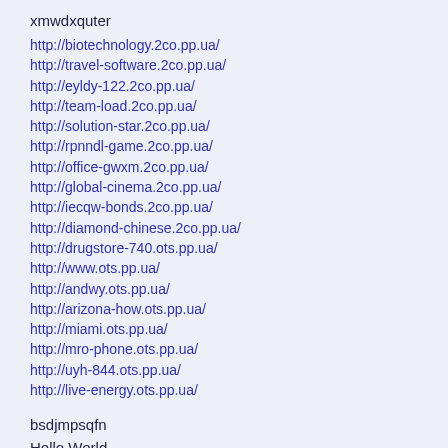xmwdxquter
http://biotechnology.2co.pp.ua/
http://travel-software.2co.pp.ua/
http://eyldy-122.2co.pp.ua/
http://team-load.2co.pp.ua/
http://solution-star.2co.pp.ua/
http://rpnndl-game.2co.pp.ua/
http://office-gwxm.2co.pp.ua/
http://global-cinema.2co.pp.ua/
http://iecqw-bonds.2co.pp.ua/
http://diamond-chinese.2co.pp.ua/
http://drugstore-740.ots.pp.ua/
http://www.ots.pp.ua/
http://andwy.ots.pp.ua/
http://arizona-how.ots.pp.ua/
http://miami.ots.pp.ua/
http://mro-phone.ots.pp.ua/
http://uyh-844.ots.pp.ua/
http://live-energy.ots.pp.ua/
bsdjmpsqfn
Hello World
chnpkrsmwu
1 āīðīōīāàÿ āīðīäñēàÿ īàûàöòðàåüūñēàÿ éīeāà īàöàðáóðāà 1910 āīää